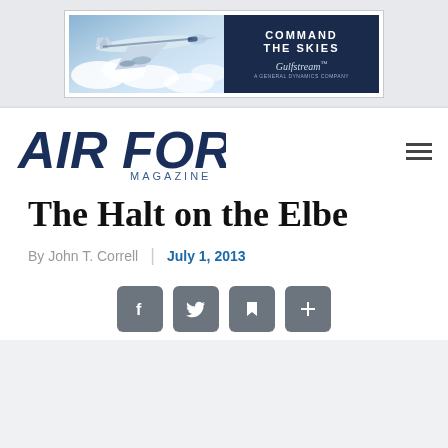[Figure (illustration): Gulfstream advertisement: jet aircraft flying through clouds on the left half, dark navy background on the right with text 'COMMAND THE SKIES' and 'Gulfstream' logo and 'A GENERAL DYNAMICS COMPANY' tagline.]
[Figure (logo): Air Force Magazine logo in bold dark blue italic block letters with 'MAGAZINE' subtitle]
The Halt on the Elbe
By John T. Correll | July 1, 2013
[Figure (infographic): Social sharing buttons: Facebook (f), Twitter (bird), save/bookmark icon, and plus (+) button, all in rounded dark gray squares]